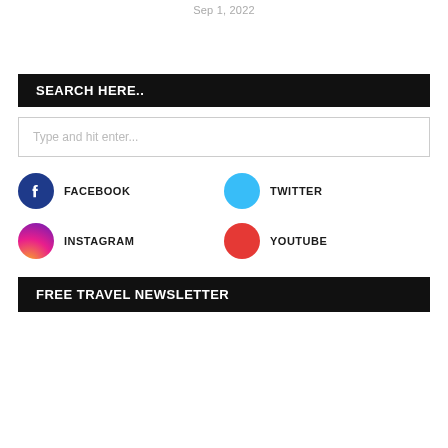Sep 1, 2022
SEARCH HERE..
Type and hit enter...
FACEBOOK
TWITTER
INSTAGRAM
YOUTUBE
FREE TRAVEL NEWSLETTER